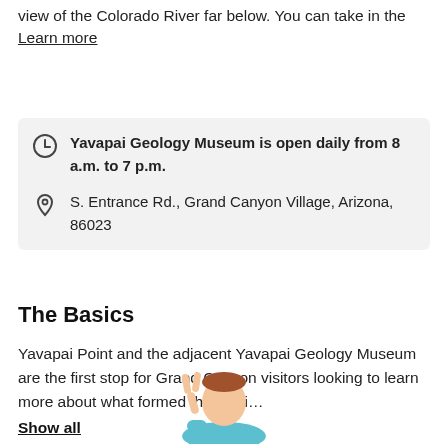view of the Colorado River far below. You can take in the
Learn more
Yavapai Geology Museum is open daily from 8 a.m. to 7 p.m.
S. Entrance Rd., Grand Canyon Village, Arizona, 86023
The Basics
Yavapai Point and the adjacent Yavapai Geology Museum are the first stop for Grand Canyon visitors looking to learn more about what formed the iconi...
Show all
[Figure (illustration): Partial illustration of a cartoon character with a peace sign hand gesture, shown from roughly waist up, appearing at the bottom center of the page.]